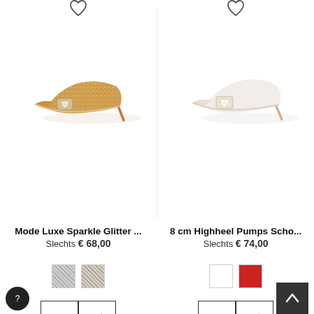[Figure (photo): Gold glitter high heel pump shoe with crystal buckle decoration on white background]
Mode Luxe Sparkle Glitter ...
Slechts € 68,00
[Figure (photo): White satin high heel pump shoe with pearl/crystal buckle decoration on white background]
8 cm Highheel Pumps Scho...
Slechts € 74,00